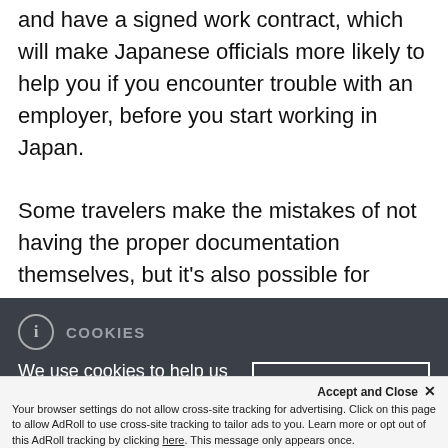and have a signed work contract, which will make Japanese officials more likely to help you if you encounter trouble with an employer, before you start working in Japan.

Some travelers make the mistakes of not having the proper documentation themselves, but it's also possible for companies to lure foreigners to Japan by providing incorrect visa and work details. No matter
COOKIES
We use cookies to help us improve website user experience. If you continue, we'll assume that you are happy for us to use cookies for this
I accept
Accept and Close ×
Your browser settings do not allow cross-site tracking for advertising. Click on this page to allow AdRoll to use cross-site tracking to tailor ads to you. Learn more or opt out of this AdRoll tracking by clicking here. This message only appears once.